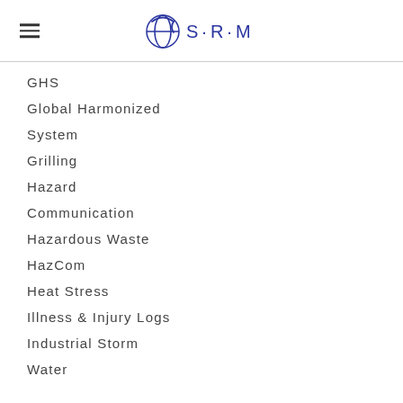SRM logo and hamburger menu
GHS
Global Harmonized
System
Grilling
Hazard
Communication
Hazardous Waste
HazCom
Heat Stress
Illness & Injury Logs
Industrial Storm
Water